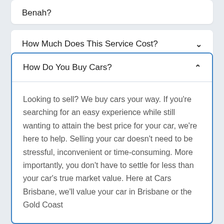Benah?
How Much Does This Service Cost?
How Do You Buy Cars?
Looking to sell? We buy cars your way. If you're searching for an easy experience while still wanting to attain the best price for your car, we're here to help. Selling your car doesn't need to be stressful, inconvenient or time-consuming. More importantly, you don't have to settle for less than your car's true market value. Here at Cars Brisbane, we'll value your car in Brisbane or the Gold Coast